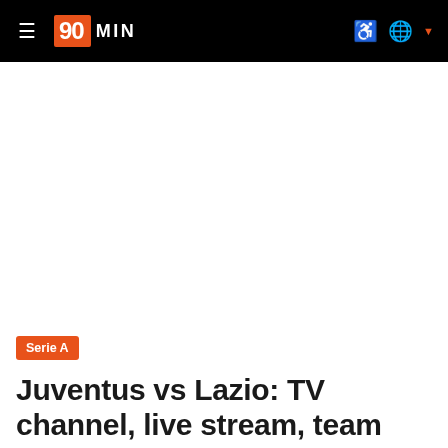90MIN — navigation bar with hamburger menu, logo, accessibility icon, globe icon
[Figure (other): Large white blank area — image placeholder or advertisement space]
Serie A
Juventus vs Lazio: TV channel, live stream, team news &